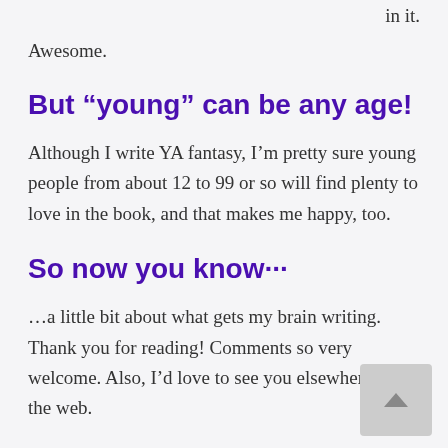in it.
Awesome.
But “young” can be any age!
Although I write YA fantasy, I’m pretty sure young people from about 12 to 99 or so will find plenty to love in the book, and that makes me happy, too.
So now you know···
…a little bit about what gets my brain writing. Thank you for reading! Comments so very welcome. Also, I’d love to see you elsewhere on the web.